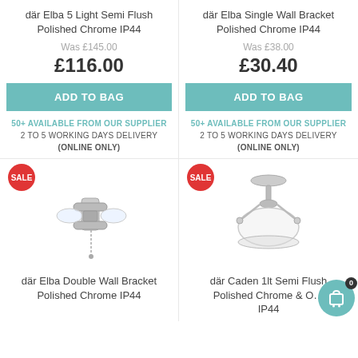där Elba 5 Light Semi Flush Polished Chrome IP44
där Elba Single Wall Bracket Polished Chrome IP44
Was £145.00
Was £38.00
£116.00
£30.40
ADD TO BAG
ADD TO BAG
50+ AVAILABLE FROM OUR SUPPLIER
2 TO 5 WORKING DAYS DELIVERY
(ONLINE ONLY)
50+ AVAILABLE FROM OUR SUPPLIER
2 TO 5 WORKING DAYS DELIVERY
(ONLINE ONLY)
[Figure (photo): där Elba Double Wall Bracket Polished Chrome IP44 - chrome wall light fixture with pull cord]
SALE
där Elba Double Wall Bracket Polished Chrome IP44
[Figure (photo): där Caden 1lt Semi Flush Polished Chrome & Opal IP44 - chrome ceiling pendant with opal glass shade]
SALE
där Caden 1lt Semi Flush Polished Chrome & Opal IP44